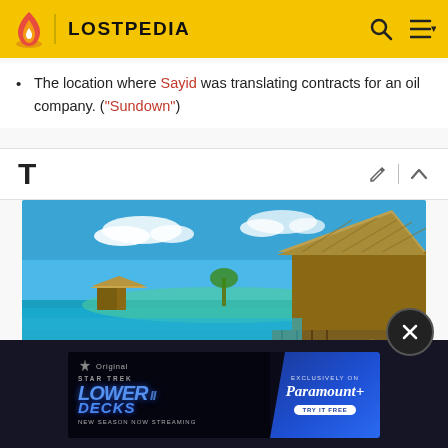LOSTPEDIA
The location where Sayid was translating contracts for an oil company. ("Sundown")
T
[Figure (photo): Tropical overwater bungalows with thatched roofs on turquoise water under a blue sky with clouds]
[Figure (screenshot): Star Trek Lower Decks advertisement banner: 'Paramount Original - Star Trek Lower Decks II - New Season Now Streaming - Exclusively on Paramount+ - Try It Free']